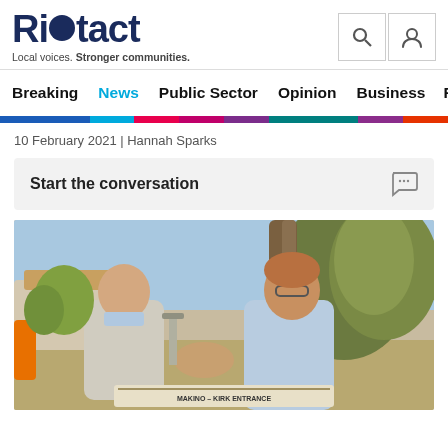Riotact — Local voices. Stronger communities.
Breaking | News | Public Sector | Opinion | Business | R…
10 February 2021 | Hannah Sparks
Start the conversation
[Figure (photo): Two men shaking hands outdoors at a construction site near a large tree. One man wears a light grey suit, the other a blue shirt. A plaque reading 'MAKINO – KIRK ENTRANCE' is visible in the foreground.]